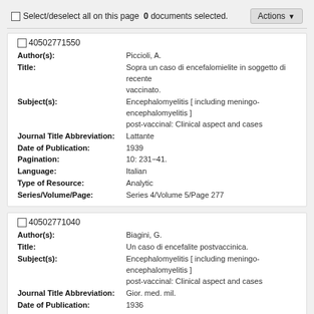Select/deselect all on this page  0 documents selected.  Actions
40502771550 | Author(s): Piccioli, A. | Title: Sopra un caso di encefalomielite in soggetto di recente vaccinato. | Subject(s): Encephalomyelitis [including meningo-encephalomyelitis] post-vaccinal: Clinical aspect and cases | Journal Title Abbreviation: Lattante | Date of Publication: 1939 | Pagination: 10: 231-41. | Language: Italian | Type of Resource: Analytic | Series/Volume/Page: Series 4/Volume 5/Page 277
40502771040 | Author(s): Biagini, G. | Title: Un caso di encefalite postvaccinica. | Subject(s): Encephalomyelitis [including meningo-encephalomyelitis] post-vaccinal: Clinical aspect and cases | Journal Title Abbreviation: Gior. med. mil. | Date of Publication: 1936 | Pagination: 84: 52-9. | Language: Italian | Type of Resource: Analytic | Series/Volume/Page: Series 4/Volume 5/Page 277
40502771100 | Author(s): Cincinnati, V.